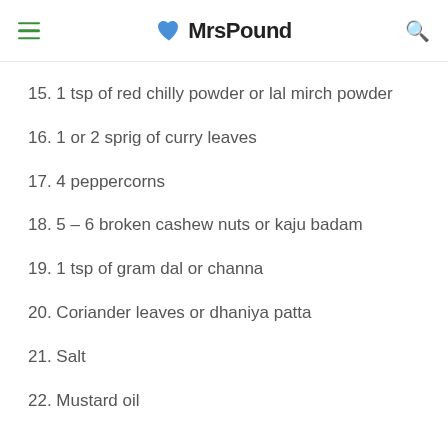MrsPound
15. 1 tsp of red chilly powder or lal mirch powder
16. 1 or 2 sprig of curry leaves
17. 4 peppercorns
18. 5 – 6 broken cashew nuts or kaju badam
19. 1 tsp of gram dal or channa
20. Coriander leaves or dhaniya patta
21. Salt
22. Mustard oil